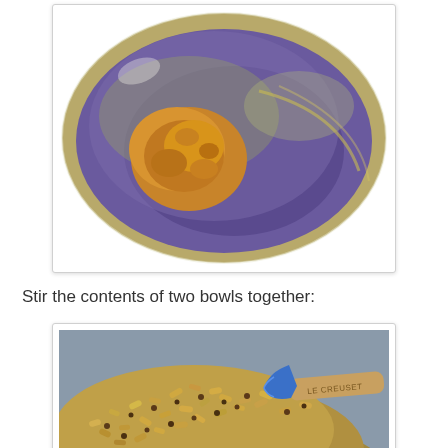[Figure (photo): Overhead close-up of a glass bowl containing dark purple/blue liquid (likely balsamic or tamari) with a dollop of peanut butter sitting on top, and some oil visible around the edges]
Stir the contents of two bowls together:
[Figure (photo): Close-up of granola mixture (oats, seeds, and other dry ingredients) being stirred with a blue Le Creuset spatula/spoon on what appears to be a baking sheet or bowl]